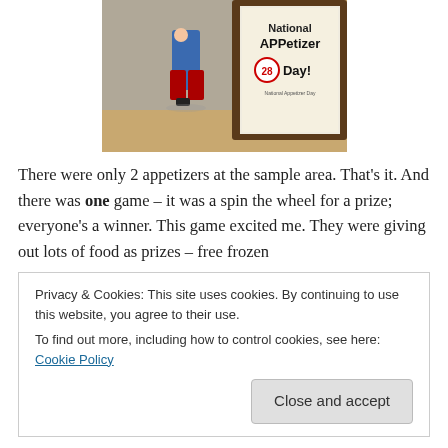[Figure (photo): A child standing next to a framed sign that reads 'National APPetizer Day! 28']
There were only 2 appetizers at the sample area. That's it. And there was one game – it was a spin the wheel for a prize; everyone's a winner. This game excited me. They were giving out lots of food as prizes – free frozen
Privacy & Cookies: This site uses cookies. By continuing to use this website, you agree to their use.
To find out more, including how to control cookies, see here: Cookie Policy
Close and accept
I get something good for free, it gets me high. I don't mean